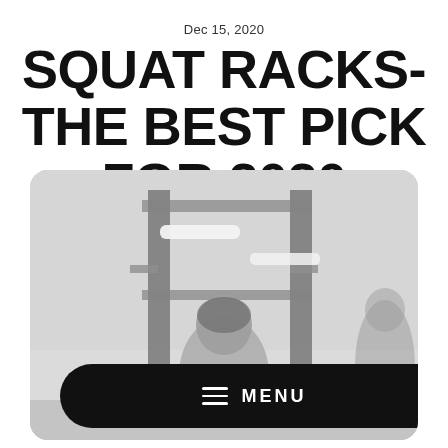Dec 15, 2020
SQUAT RACKS- THE BEST PICK FOR 2020
[Figure (photo): A person standing in front of squat rack equipment in a gym, viewed from behind. The photo has a light, slightly washed-out tone. A dark rounded-rectangle menu bar overlays the bottom of the image with a hamburger icon and the word MENU.]